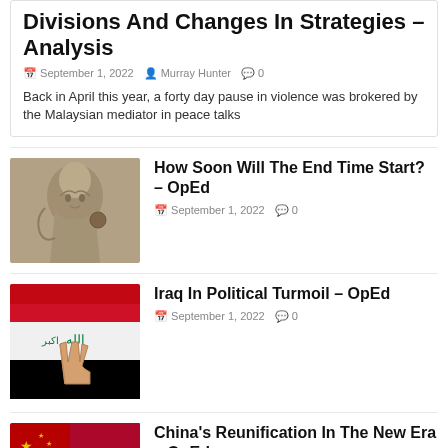Divisions And Changes In Strategies – Analysis
September 1, 2022  Murray Hunter  0
Back in April this year, a forty day pause in violence was brokered by the Malaysian mediator in peace talks
[Figure (photo): Stone angel statue]
How Soon Will The End Time Start? – OpEd
September 1, 2022  0
[Figure (photo): Iraq flag with peace sign hand gesture]
Iraq In Political Turmoil – OpEd
September 1, 2022  0
[Figure (photo): China and Taiwan flags]
China's Reunification In The New Era – OpEd
September 1, 2022  0